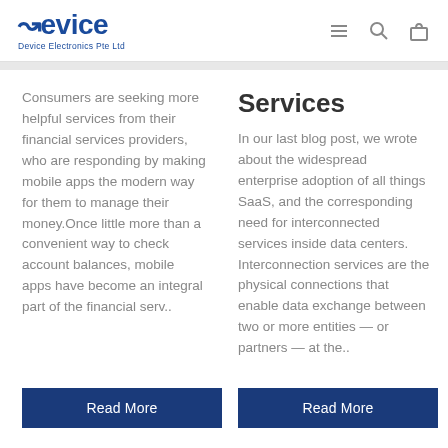Device Electronics Pte Ltd
Consumers are seeking more helpful services from their financial services providers, who are responding by making mobile apps the modern way for them to manage their money.Once little more than a convenient way to check account balances, mobile apps have become an integral part of the financial serv..
Services
In our last blog post, we wrote about the widespread enterprise adoption of all things SaaS, and the corresponding need for interconnected services inside data centers. Interconnection services are the physical connections that enable data exchange between two or more entities — or partners — at the..
Read More
Read More